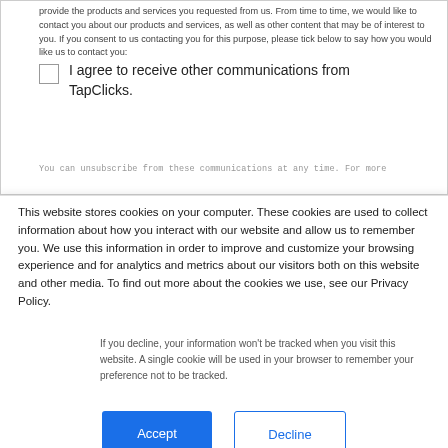provide the products and services you requested from us. From time to time, we would like to contact you about our products and services, as well as other content that may be of interest to you. If you consent to us contacting you for this purpose, please tick below to say how you would like us to contact you:
I agree to receive other communications from TapClicks.
You can unsubscribe from these communications at any time. For more
This website stores cookies on your computer. These cookies are used to collect information about how you interact with our website and allow us to remember you. We use this information in order to improve and customize your browsing experience and for analytics and metrics about our visitors both on this website and other media. To find out more about the cookies we use, see our Privacy Policy.
If you decline, your information won't be tracked when you visit this website. A single cookie will be used in your browser to remember your preference not to be tracked.